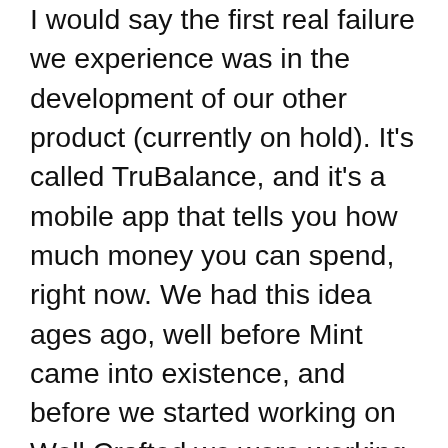I would say the first real failure we experience was in the development of our other product (currently on hold). It's called TruBalance, and it's a mobile app that tells you how much money you can spend, right now. We had this idea ages ago, well before Mint came into existence, and before we started working on Well Crafted we were working on the first iteration of this app. Our business model was simple – charge people a monthly fee for access to our app. The problem was, we had a huge, fixed upfront cost in the software that allows us to access bank accounts. The software would cost as much as we wanted to charge for the app. So before we even really began, our